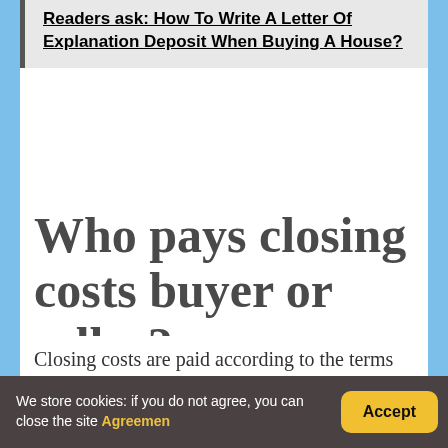Readers ask: How To Write A Letter Of Explanation Deposit When Buying A House?
Who pays closing costs buyer or seller?
Closing costs are paid according to the terms of the purchase contract made between the buyer and seller. Usually the buyer pays for most of the closing...
We store cookies: if you do not agree, you can close the site Agreemen